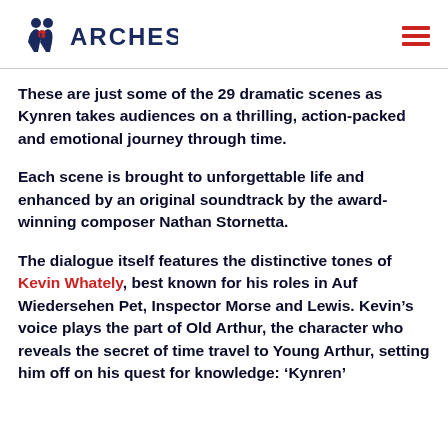11 ARCHES
These are just some of the 29 dramatic scenes as Kynren takes audiences on a thrilling, action-packed and emotional journey through time.
Each scene is brought to unforgettable life and enhanced by an original soundtrack by the award-winning composer Nathan Stornetta.
The dialogue itself features the distinctive tones of Kevin Whately, best known for his roles in Auf Wiedersehen Pet, Inspector Morse and Lewis. Kevin’s voice plays the part of Old Arthur, the character who reveals the secret of time travel to Young Arthur, setting him off on his quest for knowledge: ‘Kynren’